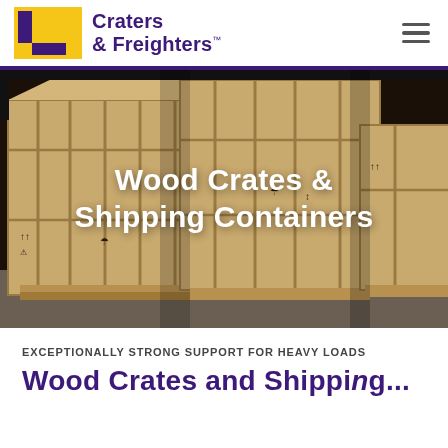[Figure (logo): Craters & Freighters logo with purple and yellow geometric icon and purple text]
[Figure (photo): Multiple large wooden shipping crates and containers on a warehouse floor against a dark background]
Wood Crates & Shipping Containers
EXCEPTIONALLY STRONG SUPPORT FOR HEAVY LOADS
Wood Crates and Shipping...